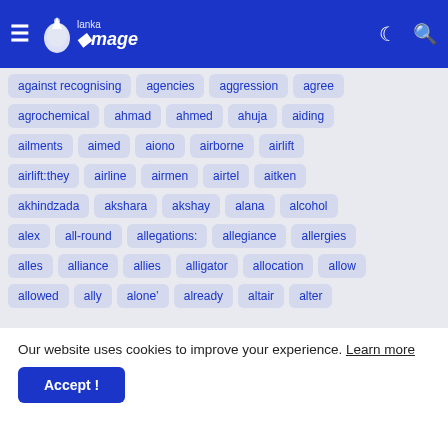Lanka Image - navigation header with logo, hamburger menu, dark mode and search icons
against recognising
agencies
aggression
agree
agrochemical
ahmad
ahmed
ahuja
aiding
ailments
aimed
aiono
airborne
airlift
airlift:they
airline
airmen
airtel
aitken
akhindzada
akshara
akshay
alana
alcohol
alex
all-round
allegations:
allegiance
allergies
alles
alliance
allies
alligator
allocation
allow
allowed
ally
alone”
already
altair
alter
Our website uses cookies to improve your experience. Learn more
Accept !